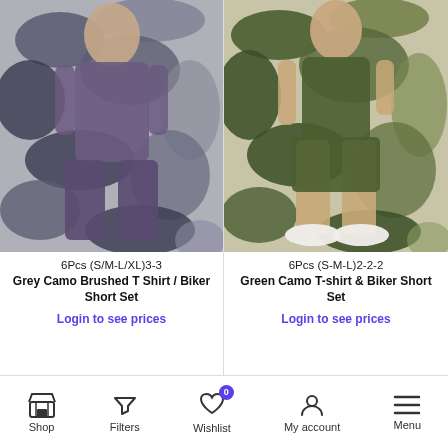[Figure (photo): Female model wearing grey camouflage brushed T-shirt and biker short set]
[Figure (photo): Female model wearing green camouflage T-shirt and biker short set]
6Pcs (S/M-L/XL)3-3
Grey Camo Brushed T Shirt / Biker Short Set
Login to see prices
6Pcs (S-M-L)2-2-2
Green Camo T-shirt & Biker Short Set
Login to see prices
Shop   Filters   Wishlist 0   My account   Menu